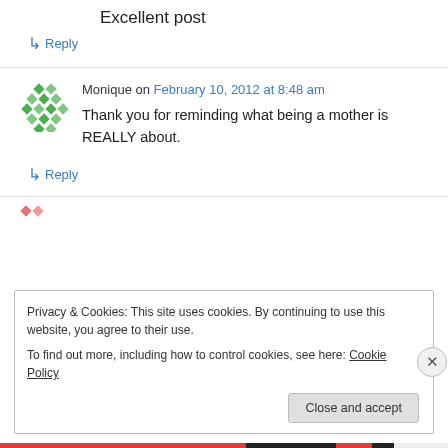Excellent post
↳ Reply
Monique on February 10, 2012 at 8:48 am
Thank you for reminding what being a mother is REALLY about.
↳ Reply
Privacy & Cookies: This site uses cookies. By continuing to use this website, you agree to their use.
To find out more, including how to control cookies, see here: Cookie Policy
Close and accept